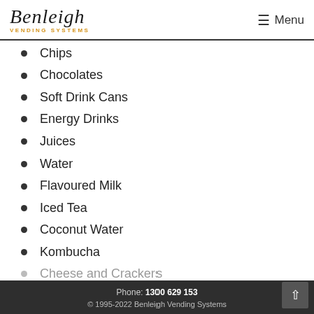Benleigh Vending Systems — Menu
Chips
Chocolates
Soft Drink Cans
Energy Drinks
Juices
Water
Flavoured Milk
Iced Tea
Coconut Water
Kombucha
Cheese and Crackers
Tuna and Crackers
Phone: 1300 629 153 — © 1995-2022 Benleigh Vending Systems